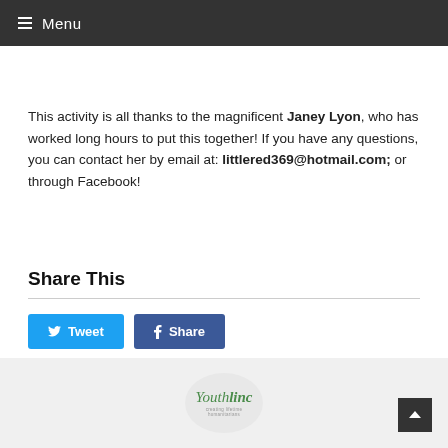≡ Menu
This activity is all thanks to the magnificent Janey Lyon, who has worked long hours to put this together! If you have any questions, you can contact her by email at: littlered369@hotmail.com; or through Facebook!
Share This
[Figure (other): Tweet and Share social media buttons]
[Figure (logo): Youthlinc logo with tagline 'creating lifetime humanitarians']